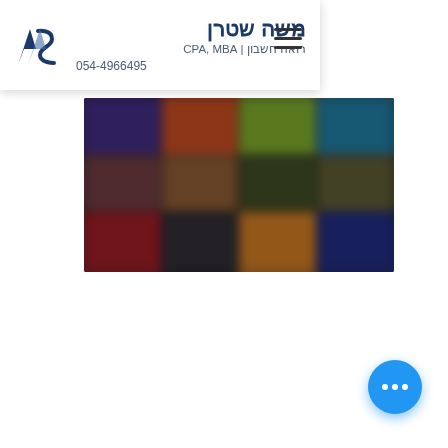משה שטרן | רואה חשבון CPA, MBA | 054-4966495
[Figure (screenshot): Blurred screenshot of a colorful application or website interface with multiple colorful panels/tiles arranged in rows on a dark background]